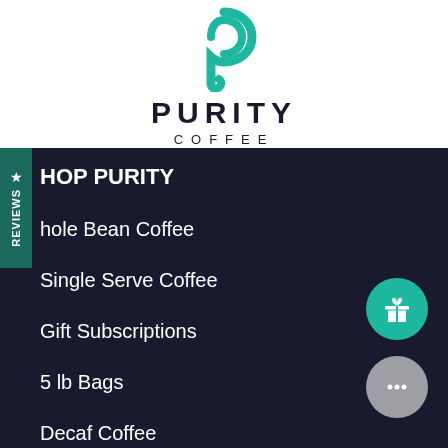[Figure (logo): Purity Coffee logo with teal swirl P icon above the text PURITY COFFEE]
SHOP PURITY
Whole Bean Coffee
Single Serve Coffee
Gift Subscriptions
5 lb Bags
Decaf Coffee
Terms of Service
Refund policy